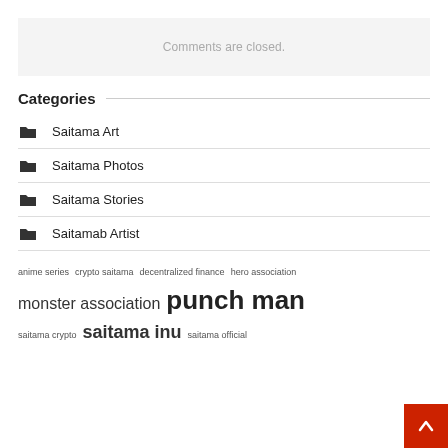Comments are closed.
Categories
Saitama Art
Saitama Photos
Saitama Stories
Saitamab Artist
anime series  crypto saitama  decentralized finance  hero association  monster association  punch man  saitama crypto  saitama inu  saitama official